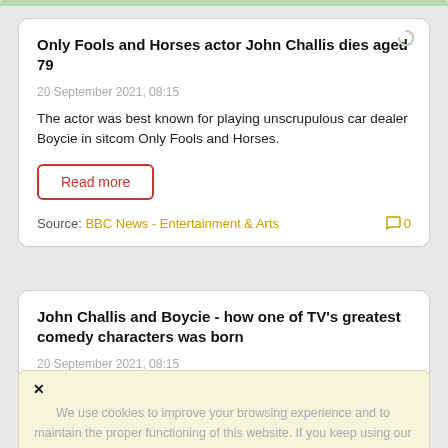Only Fools and Horses actor John Challis dies aged 79
20 September 2021, 08:15
The actor was best known for playing unscrupulous car dealer Boycie in sitcom Only Fools and Horses.
Read more
Source: BBC News - Entertainment & Arts  0
John Challis and Boycie - how one of TV's greatest comedy characters was born
20 September 2021, 08:15
We use cookies to improve your browsing experience and to maintain the proper functioning of this website. If you keep using our website, we assume that you are ok with that. For more information, read our policy.
Source: BBC News - Entertainment & Arts  0